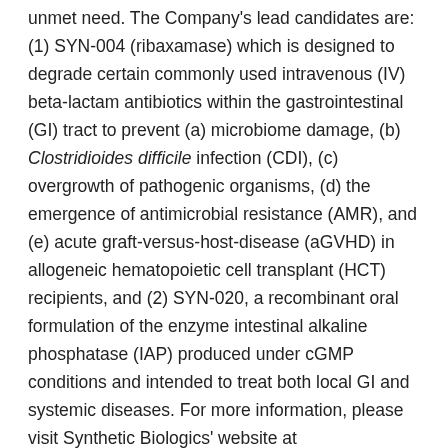unmet need. The Company's lead candidates are: (1) SYN-004 (ribaxamase) which is designed to degrade certain commonly used intravenous (IV) beta-lactam antibiotics within the gastrointestinal (GI) tract to prevent (a) microbiome damage, (b) Clostridioides difficile infection (CDI), (c) overgrowth of pathogenic organisms, (d) the emergence of antimicrobial resistance (AMR), and (e) acute graft-versus-host-disease (aGVHD) in allogeneic hematopoietic cell transplant (HCT) recipients, and (2) SYN-020, a recombinant oral formulation of the enzyme intestinal alkaline phosphatase (IAP) produced under cGMP conditions and intended to treat both local GI and systemic diseases. For more information, please visit Synthetic Biologics' website at www.syntheticbiologics.com.